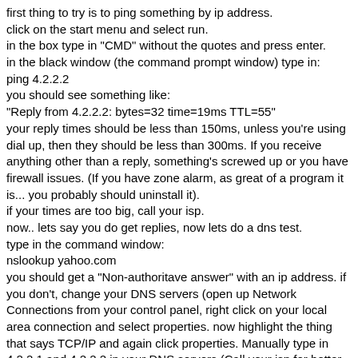first thing to try is to ping something by ip address.
click on the start menu and select run.
in the box type in "CMD" without the quotes and press enter.
in the black window (the command prompt window) type in:
ping 4.2.2.2
you should see something like:
"Reply from 4.2.2.2: bytes=32 time=19ms TTL=55"
your reply times should be less than 150ms, unless you're using dial up, then they should be less than 300ms. If you receive anything other than a reply, something's screwed up or you have firewall issues. (If you have zone alarm, as great of a program it is... you probably should uninstall it).
if your times are too big, call your isp.
now.. lets say you do get replies, now lets do a dns test.
type in the command window:
nslookup yahoo.com
you should get a "Non-authoritave answer" with an ip address. if you don't, change your DNS servers (open up Network Connections from your control panel, right click on your local area connection and select properties. now highlight the thing that says TCP/IP and again click properties. Manually type in 4.2.2.1 and 4.2.2.2 in your DNS servers (Call your isp for better servers to use, but these at least will never fail)
if this doesn't fix your issue (which wouldn't surprise me) then type in